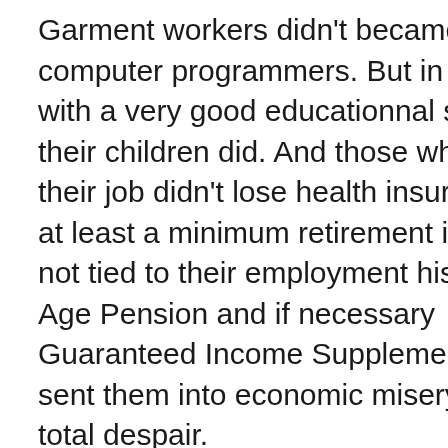Garment workers didn't became computer programmers. But in a big city with a very good educationnal system their children did. And those who lost their job didn't lose health insurance and at least a minimum retirement income not tied to their employment history(Old Age Pension and if necessary Guaranteed Income Supplement) didn't sent them into economic misery and total despair.
The 70's were tough and a few years ago I published here a spreadsheet showing the improvement in employment in